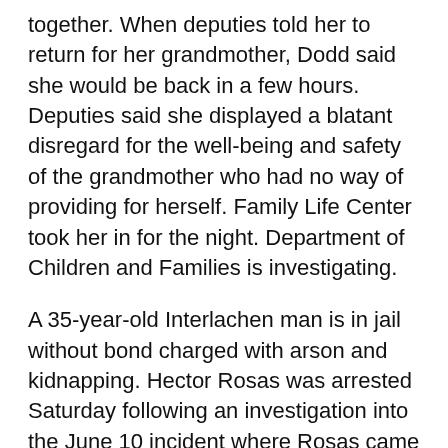together. When deputies told her to return for her grandmother, Dodd said she would be back in a few hours. Deputies said she displayed a blatant disregard for the well-being and safety of the grandmother who had no way of providing for herself. Family Life Center took her in for the night. Department of Children and Families is investigating.
A 35-year-old Interlachen man is in jail without bond charged with arson and kidnapping. Hector Rosas was arrested Saturday following an investigation into the June 10 incident where Rosas came to the woman's house about a car she